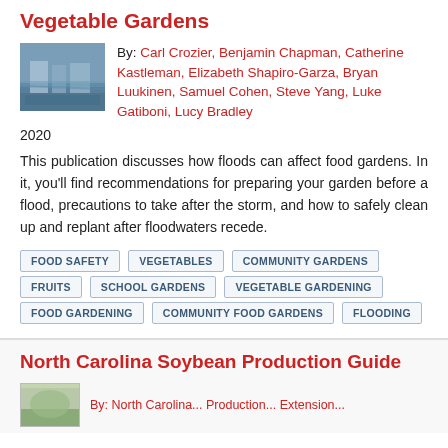Vegetable Gardens
By: Carl Crozier, Benjamin Chapman, Catherine Kastleman, Elizabeth Shapiro-Garza, Bryan Luukinen, Samuel Cohen, Steve Yang, Luke Gatiboni, Lucy Bradley
2020
This publication discusses how floods can affect food gardens. In it, you'll find recommendations for preparing your garden before a flood, precautions to take after the storm, and how to safely clean up and replant after floodwaters recede.
FOOD SAFETY
VEGETABLES
COMMUNITY GARDENS
FRUITS
SCHOOL GARDENS
VEGETABLE GARDENING
FOOD GARDENING
COMMUNITY FOOD GARDENS
FLOODING
North Carolina Soybean Production Guide